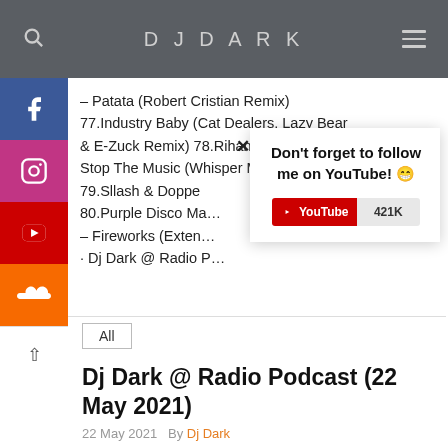DJ DARK
– Patata (Robert Cristian Remix) 77.Industry Baby (Cat Dealers, Lazy Bear & E-Zuck Remix) 78.Rihanna – Don't Stop The Music (Whisper Machine Edit) 79.Sllash & Doppe… 80.Purple Disco Ma… – Fireworks (Exten… · Dj Dark @ Radio P…
Don't forget to follow me on YouTube! 😁
[Figure (screenshot): YouTube subscriber badge showing 421K subscribers]
All
Dj Dark @ Radio Podcast (22 May 2021)
22 May 2021   By Dj Dark